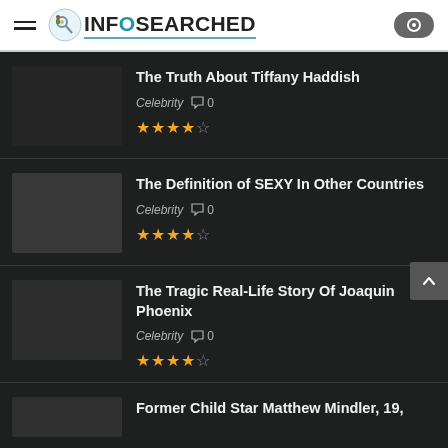INFOSEARCHED
The Truth About Tiffany Haddish | Celebrity | 0 comments | 4 stars
The Definition of SEXY In Other Countries | Celebrity | 0 comments | 4 stars
The Tragic Real-Life Story Of Joaquin Phoenix | Celebrity | 0 comments | 4 stars
Former Child Star Matthew Mindler, 19,